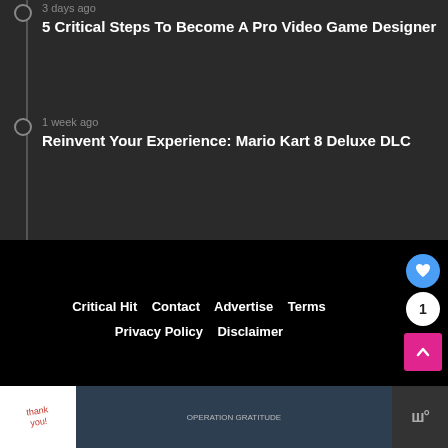3 days ago — 5 Critical Steps To Become A Pro Video Game Designer
1 week ago — Reinvent Your Experience: Mario Kart 8 Deluxe DLC
Critical Hit   Contact   Advertise   Terms   Privacy Policy   Disclaimer
Exclusive Member of Mediavine Home
[Figure (screenshot): What's Next banner with Microsoft Teams... text and device image]
[Figure (photo): Thank you Operation Gratitude advertisement banner with firefighters]